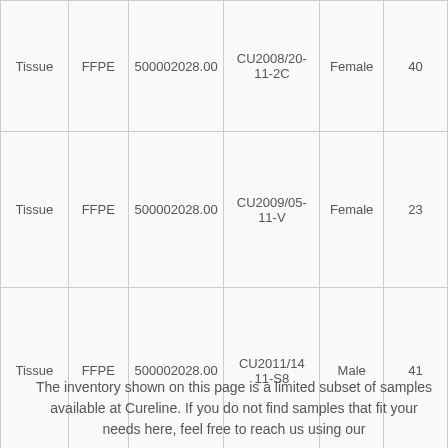|  |  |  |  |  |  |
| --- | --- | --- | --- | --- | --- |
| Tissue | FFPE | 500002028.00 | CU2008/20-11-2C | Female | 40 |
| Tissue | FFPE | 500002028.00 | CU2009/05-11-V | Female | 23 |
| Tissue | FFPE | 500002028.00 | CU2011/14 11-S8 | Male | 41 |
The inventory shown on this page is a limited subset of samples available at Cureline. If you do not find samples that fit your needs here, feel free to reach us using our